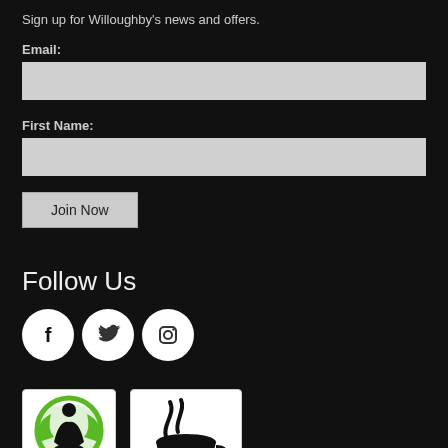Sign up for Willoughby's news and offers.
Email:
First Name:
Join Now
Follow Us
[Figure (illustration): Three social media icons (Facebook, Twitter, Instagram) as white circles with black icons]
[Figure (logo): Fair Trade Certified logo badge]
[Figure (logo): Specialty Coffee Association logo badge]